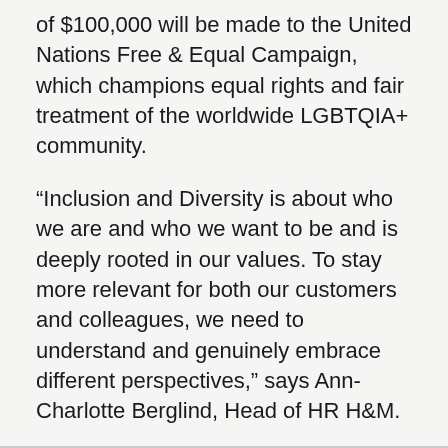of $100,000 will be made to the United Nations Free & Equal Campaign, which champions equal rights and fair treatment of the worldwide LGBTQIA+ community.
“Inclusion and Diversity is about who we are and who we want to be and is deeply rooted in our values. To stay more relevant for both our customers and colleagues, we need to understand and genuinely embrace different perspectives,” says Ann-Charlotte Berglind, Head of HR H&M.